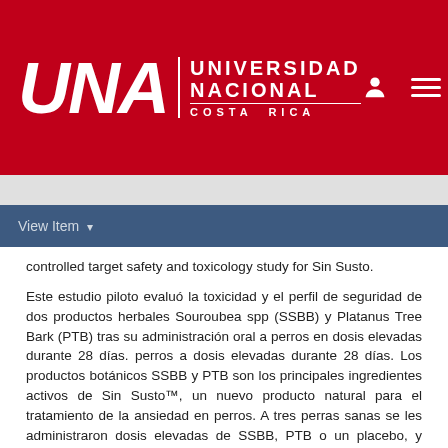[Figure (logo): Universidad Nacional Costa Rica (UNA) logo in white on red background, with person and menu icons on the right]
View Item ▾
controlled target safety and toxicology study for Sin Susto.
Este estudio piloto evaluó la toxicidad y el perfil de seguridad de dos productos herbales Souroubea spp (SSBB) y Platanus Tree Bark (PTB) tras su administración oral a perros en dosis elevadas durante 28 días. perros a dosis elevadas durante 28 días. Los productos botánicos SSBB y PTB son los principales ingredientes activos de Sin Susto™, un nuevo producto natural para el tratamiento de la ansiedad en perros. A tres perras sanas se les administraron dosis elevadas de SSBB, PTB o un placebo, y luego se controló la aparición de cualquier efecto adverso sistémico y local. sistémicos y locales. Los datos de este estudio piloto revelaron que el SSBB y el PTB no tuvieron efectos adversos en la salud de los perros y se consideraron seguros, lo que permitió el diseño y la ejecución de un estudio controlado de seguridad y toxicología para Sin Susto™.